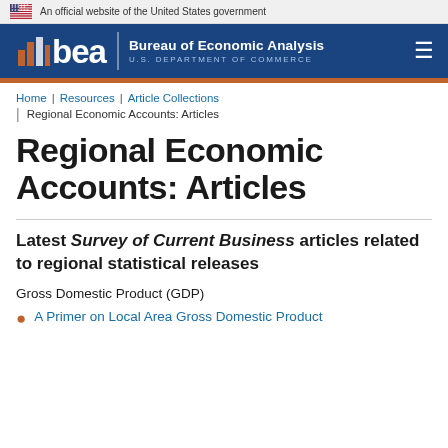An official website of the United States government
[Figure (logo): BEA Bureau of Economic Analysis, U.S. Department of Commerce logo on dark blue header]
Home | Resources | Article Collections | Regional Economic Accounts: Articles
Regional Economic Accounts: Articles
Latest Survey of Current Business articles related to regional statistical releases
Gross Domestic Product (GDP)
A Primer on Local Area Gross Domestic Product